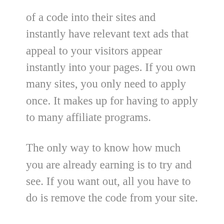of a code into their sites and instantly have relevant text ads that appeal to your visitors appear instantly into your pages. If you own many sites, you only need to apply once. It makes up for having to apply to many affiliate programs.
The only way to know how much you are already earning is to try and see. If you want out, all you have to do is remove the code from your site.
The payment rates can vary extremely. The payment you will be receiving per click depends on how much advertisers are paying per click to advertise with the use of the AdWords. Advertisers can pay as little as 5 cents